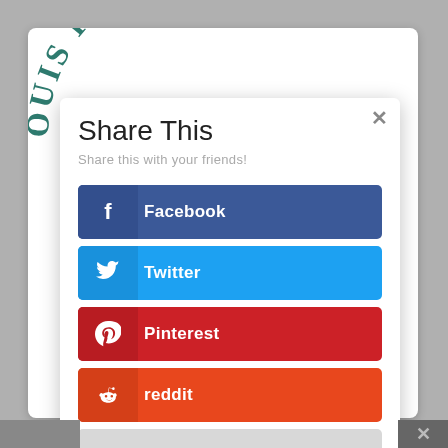[Figure (screenshot): Social share modal dialog overlay on a website page with arched 'OUIS KING OF FRA' text watermark visible in background. Modal contains Share This title, subtitle, and social media share buttons for Facebook, Twitter, Pinterest, reddit, and a more button.]
Share This
Share this with your friends!
Facebook
Twitter
Pinterest
reddit
...